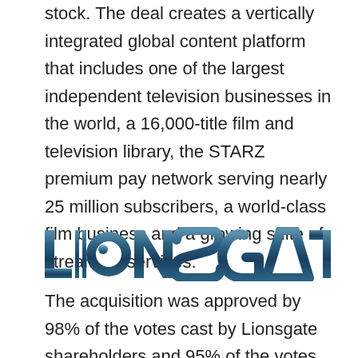stock. The deal creates a vertically integrated global content platform that includes one of the largest independent television businesses in the world, a 16,000-title film and television library, the STARZ premium pay network serving nearly 25 million subscribers, a world-class film business and a growing suite of streaming services.
[Figure (logo): Lionsgate logo — bold metallic blue stylized text reading LIONSGATE with registered trademark symbol]
The acquisition was approved by 98% of the votes cast by Lionsgate shareholders and 95% of the votes cast by Starz shareholders, in person or represented by proxy, not including abstentions, at the companies' respective